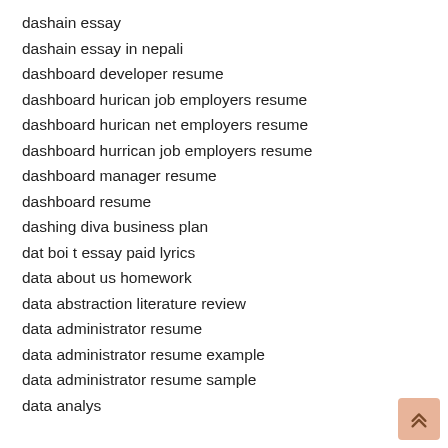dashain essay
dashain essay in nepali
dashboard developer resume
dashboard hurican job employers resume
dashboard hurican net employers resume
dashboard hurrican job employers resume
dashboard manager resume
dashboard resume
dashing diva business plan
dat boi t essay paid lyrics
data about us homework
data abstraction literature review
data administrator resume
data administrator resume example
data administrator resume sample
data analys
data analy…